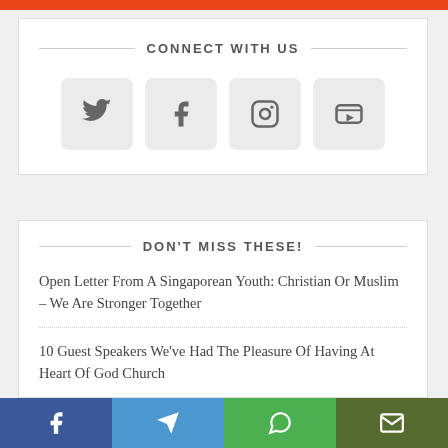CONNECT WITH US
[Figure (infographic): Four social media icon buttons: Twitter, Facebook, Instagram, YouTube, displayed as rounded square buttons with grey background.]
DON'T MISS THESE!
Open Letter From A Singaporean Youth: Christian Or Muslim – We Are Stronger Together
10 Guest Speakers We've Had The Pleasure Of Having At Heart Of God Church
[Figure (infographic): Bottom share bar with four buttons: Facebook (blue), Telegram (light blue), WhatsApp (green), Email (dark green)]